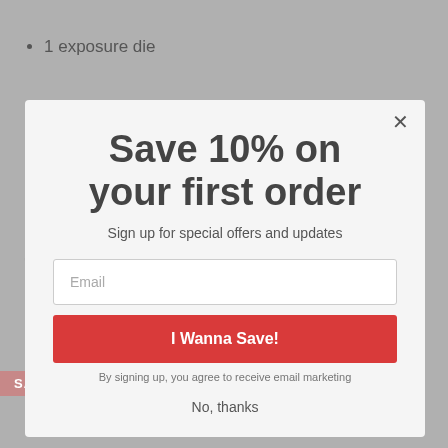1 exposure die
1 rulebook
Share
YOU MAY ALSO LIKE
[Figure (screenshot): Modal popup overlay with discount offer. Contains title 'Save 10% on your first order', subtitle 'Sign up for special offers and updates', an email input field, a red 'I Wanna Save!' button, legal text 'By signing up, you agree to receive email marketing', and a 'No, thanks' dismiss link. A close (X) button is in the top-right corner.]
SALE
SALE